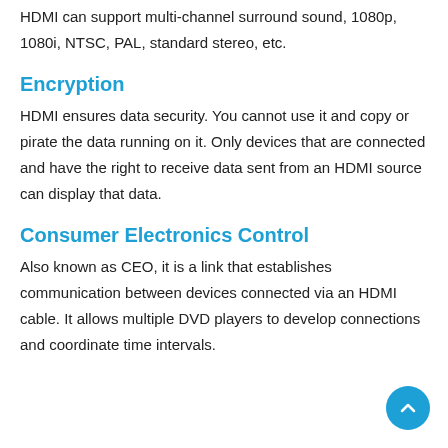HDMI can support multi-channel surround sound, 1080p, 1080i, NTSC, PAL, standard stereo, etc.
Encryption
HDMI ensures data security. You cannot use it and copy or pirate the data running on it. Only devices that are connected and have the right to receive data sent from an HDMI source can display that data.
Consumer Electronics Control
Also known as CEO, it is a link that establishes communication between devices connected via an HDMI cable. It allows multiple DVD players to develop connections and coordinate time intervals.